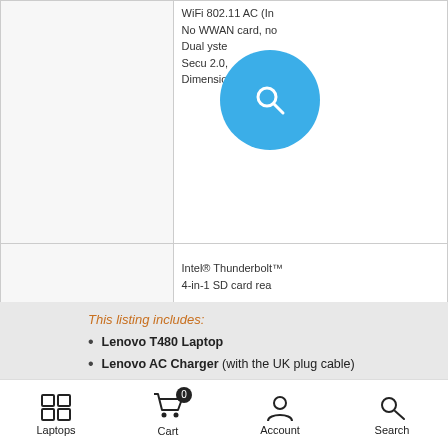|  |  |
| --- | --- |
|  | WiFi 802.11 AC (In
No WWAN card, no
Dual yste
Secu 2.0,
Dimensio 336.6 m |
| Ports | Intel® Thunderbolt
4-in-1 SD card rea |
This listing includes:
Lenovo T480 Laptop
Lenovo AC Charger (with the UK plug cable)
EU buyer? Leave a note at the checkout if you'd like the EU plug cable (instead of the UK plug cable)
Laptops  Cart 0  Account  Search